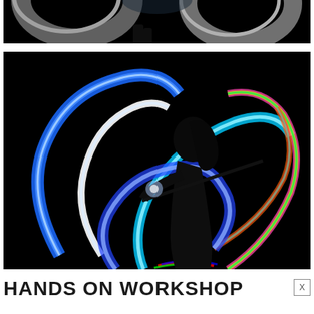[Figure (photo): Dark photo showing metallic/silver curved objects (possibly lamps or equipment) against a black background, cropped at top]
[Figure (photo): Light painting photography of a silhouetted person spinning colorful LED/light poi in a dark room, creating swirling arcs of blue, cyan, green, pink, and rainbow colors against a black background]
HANDS ON WORKSHOP